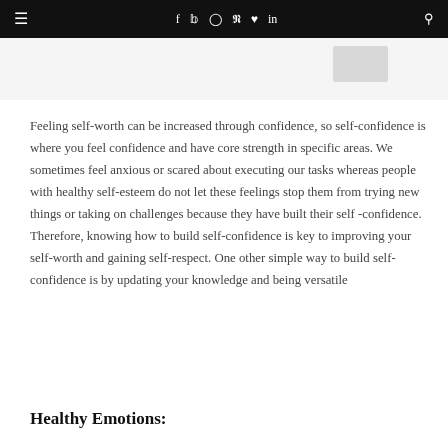≡   f  𝕏  ☐  𝒫  ♥  in  🔍
[Figure (photo): Partial image visible at top of page, showing a small gray shape in upper right area]
Feeling self-worth can be increased through confidence, so self-confidence is where you feel confidence and have core strength in specific areas. We sometimes feel anxious or scared about executing our tasks whereas people with healthy self-esteem do not let these feelings stop them from trying new things or taking on challenges because they have built their self -confidence. Therefore, knowing how to build self-confidence is key to improving your self-worth and gaining self-respect. One other simple way to build self-confidence is by updating your knowledge and being versatile
Healthy Emotions: